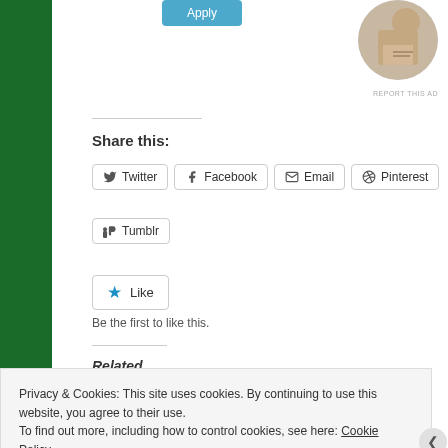[Figure (photo): Circular profile photo of a man with a beard writing or working at a desk, top-right corner]
REPORT THIS AD
Share this:
Twitter
Facebook
Email
Pinterest
Tumblr
Like
Be the first to like this.
Related
Privacy & Cookies: This site uses cookies. By continuing to use this website, you agree to their use.
To find out more, including how to control cookies, see here: Cookie Policy
Close and accept